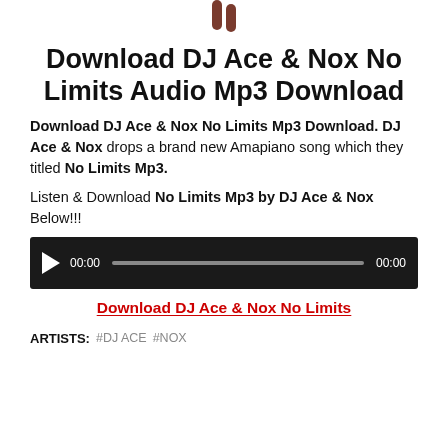[Figure (illustration): Partial image at top showing what appears to be fingers or a hand icon, cropped]
Download DJ Ace & Nox No Limits Audio Mp3 Download
Download DJ Ace & Nox No Limits Mp3 Download. DJ Ace & Nox drops a brand new Amapiano song which they titled No Limits Mp3.
Listen & Download No Limits Mp3 by DJ Ace & Nox Below!!!
[Figure (screenshot): Audio player widget with dark background, play button, time display 00:00, progress bar, and end time 00:00]
Download DJ Ace & Nox No Limits
ARTISTS: #DJ ACE #NOX